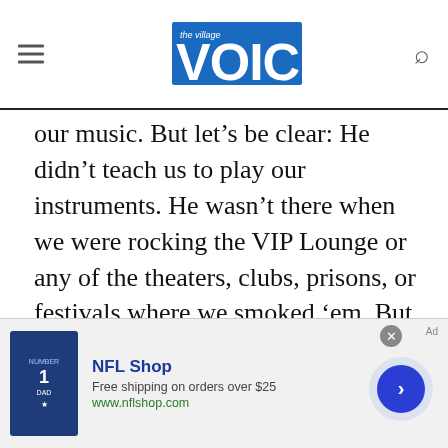The Village Voice
our music. But let’s be clear: He didn’t teach us to play our instruments. He wasn’t there when we were rocking the VIP Lounge or any of the theaters, clubs, prisons, or festivals where we smoked ‘em. But we weren’t really writing Top 40 hits, either. Ezrin would change that.
Excerpted from Snakes! Guillotines! Electric Chairs! My Adventures in the Alice Cooper Group by Dennis Dunaway and Chris Hodenfield. Copyright © 2015 by
[Figure (infographic): NFL Shop advertisement banner with Dallas Cowboys jersey image, 'NFL Shop' title, 'Free shipping on orders over $25', 'www.nflshop.com', close button, and arrow navigation button]